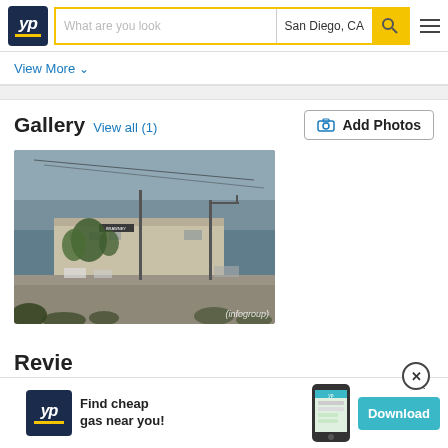[Figure (screenshot): YellowPages website header with YP logo, search bar showing 'What are you look' placeholder and 'San Diego, CA', yellow search button, and hamburger menu]
View More ∨
[Figure (photo): Street-level photo of an industrial building with trees and parking lot, watermarked with (infogroup)]
Gallery  View all (1)   [Add Photos button]
[Figure (screenshot): YP advertisement banner: 'Find cheap gas near you!' with Download button]
Revie